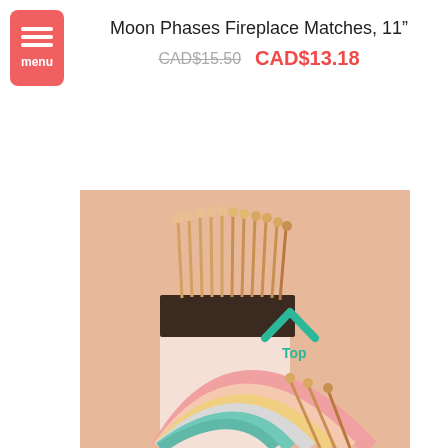Moon Phases Fireplace Matches, 11”
CAD$15.50 CAD$13.18
[Figure (photo): A box of long fireplace matches featuring a colorful rainbow arc design on the side, with matches sticking out of the top. The matches have gold-colored tips. A teal chevron/arrow pointing up with the label 'Top' is overlaid on the image. The background is a warm peach/salmon color.]